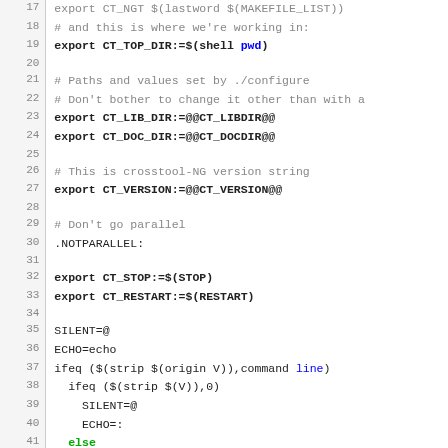[Figure (screenshot): Source code listing (Makefile/shell script) showing lines 17-47 with syntax highlighting. Line numbers in grey on left, code in monospace font. Comments in grey, keywords 'else' and 'line' in green/blue.]